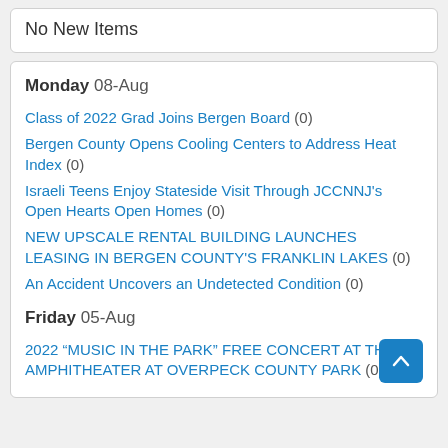No New Items
Monday 08-Aug
Class of 2022 Grad Joins Bergen Board (0)
Bergen County Opens Cooling Centers to Address Heat Index (0)
Israeli Teens Enjoy Stateside Visit Through JCCNNJ's Open Hearts Open Homes (0)
NEW UPSCALE RENTAL BUILDING LAUNCHES LEASING IN BERGEN COUNTY'S FRANKLIN LAKES (0)
An Accident Uncovers an Undetected Condition (0)
Friday 05-Aug
2022 “MUSIC IN THE PARK” FREE CONCERT AT THE AMPHITHEATER AT OVERPECK COUNTY PARK (0)